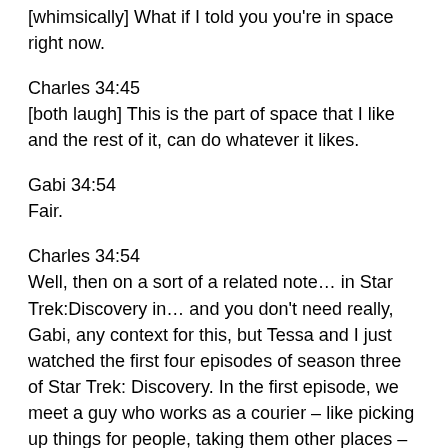[whimsically] What if I told you you're in space right now.
Charles 34:45
[both laugh] This is the part of space that I like and the rest of it, can do whatever it likes.
Gabi 34:54
Fair.
Charles 34:54
Well, then on a sort of a related note… in Star Trek:Discovery in… and you don't need really, Gabi, any context for this, but Tessa and I just watched the first four episodes of season three of Star Trek: Discovery. In the first episode, we meet a guy who works as a courier – like picking up things for people, taking them other places – to essentially fund his one man, I assume, operation of saving these giant… they're like large